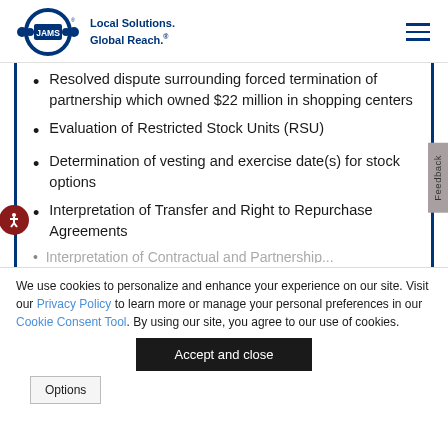JAMS | Local Solutions. Global Reach.
Resolved dispute surrounding forced termination of partnership which owned $22 million in shopping centers
Evaluation of Restricted Stock Units (RSU)
Determination of vesting and exercise date(s) for stock options
Interpretation of Transfer and Right to Repurchase Agreements
We use cookies to personalize and enhance your experience on our site. Visit our Privacy Policy to learn more or manage your personal preferences in our Cookie Consent Tool. By using our site, you agree to our use of cookies.
Accept and close
Options